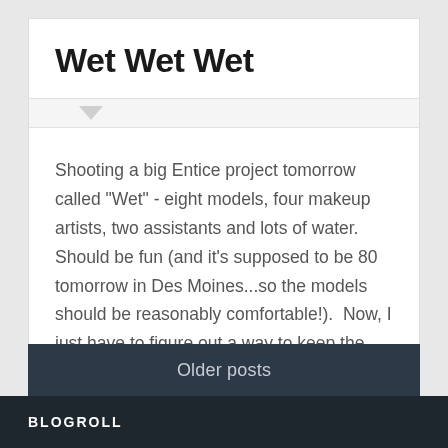Wet Wet Wet
Shooting a big Entice project tomorrow called "Wet" - eight models, four makeup artists, two assistants and lots of water.  Should be fun (and it's supposed to be 80 tomorrow in Des Moines...so the models should be reasonably comfortable!).  Now, I just have to figure out a way to keep the camera dry...
30 Mar 2012   0
Older posts
BLOGROLL